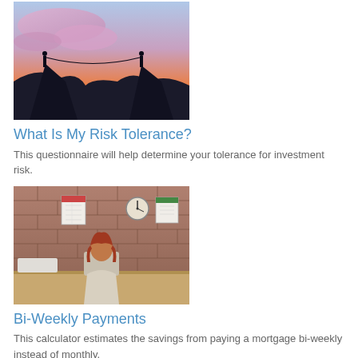[Figure (photo): Two silhouetted people on rocky peaks connected by a rope against a colorful sunset sky with pink and purple clouds]
What Is My Risk Tolerance?
This questionnaire will help determine your tolerance for investment risk.
[Figure (photo): Person with red hair sitting at a desk with back to the camera in a room with brick wall, clock, and calendars]
Bi-Weekly Payments
This calculator estimates the savings from paying a mortgage bi-weekly instead of monthly.